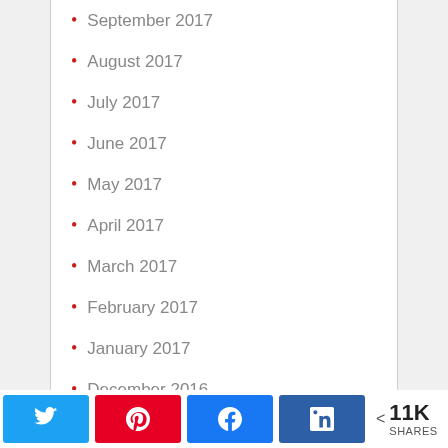September 2017
August 2017
July 2017
June 2017
May 2017
April 2017
March 2017
February 2017
January 2017
December 2016
November 2016
11K SHARES